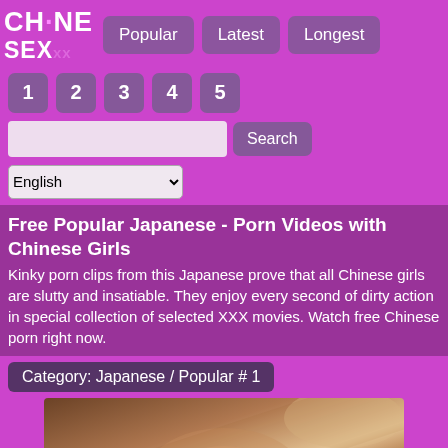CHENE SEXxx — Popular | Latest | Longest
1
2
3
4
5
Free Popular Japanese - Porn Videos with Chinese Girls
Kinky porn clips from this Japanese prove that all Chinese girls are slutty and insatiable. They enjoy every second of dirty action in special collection of selected XXX movies. Watch free Chinese porn right now.
Category: Japanese / Popular # 1
[Figure (photo): Thumbnail image of a Japanese/Chinese adult video]